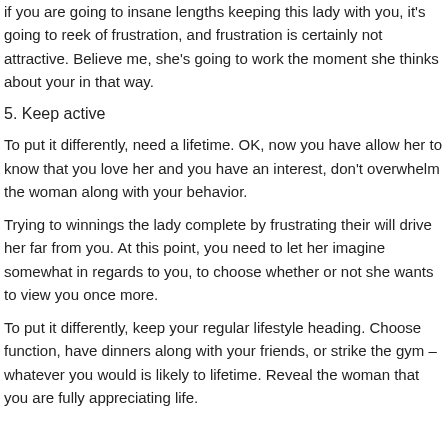if you are going to insane lengths keeping this lady with you, it's going to reek of frustration, and frustration is certainly not attractive. Believe me, she's going to work the moment she thinks about your in that way.
5. Keep active
To put it differently, need a lifetime. OK, now you have allow her to know that you love her and you have an interest, don't overwhelm the woman along with your behavior.
Trying to winnings the lady complete by frustrating their will drive her far from you. At this point, you need to let her imagine somewhat in regards to you, to choose whether or not she wants to view you once more.
To put it differently, keep your regular lifestyle heading. Choose function, have dinners along with your friends, or strike the gym – whatever you would is likely to lifetime. Reveal the woman that you are fully appreciating life.